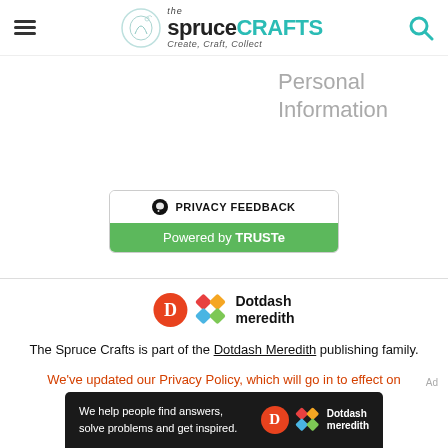the spruce CRAFTS – Create, Craft, Collect
Personal Information
[Figure (logo): TRUSTe Privacy Feedback badge: black speech bubble icon, PRIVACY FEEDBACK text, green bar with Powered by TRUSTe]
[Figure (logo): Dotdash Meredith logo: orange D circle, colorful diamond grid, Dotdash meredith text]
The Spruce Crafts is part of the Dotdash Meredith publishing family.
We've updated our Privacy Policy, which will go in to effect on September 1, 2022. Check it out here
[Figure (screenshot): Black ad banner: We help people find answers, solve problems and get inspired. Dotdash meredith logo on right.]